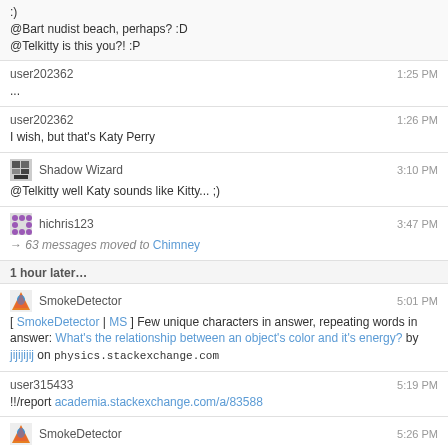:)
@Bart nudist beach, perhaps? :D
@Telkitty is this you?! :P
user202362  1:25 PM
...
user202362  1:26 PM
I wish, but that's Katy Perry
Shadow Wizard  3:10 PM
@Telkitty well Katy sounds like Kitty... ;)
hichris123  3:47 PM
→ 63 messages moved to Chimney
1 hour later...
SmokeDetector  5:01 PM
[ SmokeDetector | MS ] Few unique characters in answer, repeating words in answer: What's the relationship between an object's color and it's energy? by jijijijij on physics.stackexchange.com
user315433  5:19 PM
!!/report academia.stackexchange.com/a/83588
SmokeDetector  5:26 PM
[ SmokeDetector | MS ] Pattern-matching website in answer: OS X Finder hangs on tagging by johnfixesstuff on apple.stackexchange.com